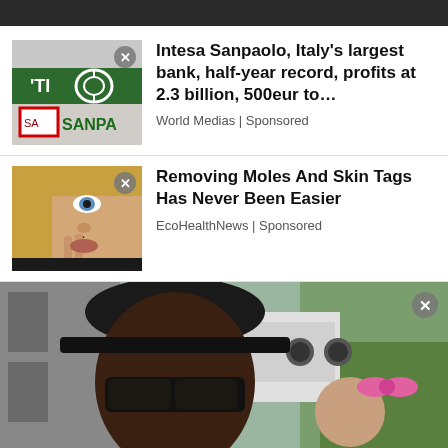[Figure (photo): Partial dark image strip at top of page]
[Figure (photo): Intesa Sanpaolo bank sign with green letters, partial view showing 'SANPAO' and bank logo with close (X) button overlay]
Intesa Sanpaolo, Italy’s largest bank, half-year record, profits at 2.3 billion, 500eur to…
World Medias | Sponsored
[Figure (photo): Close-up photo of a blonde woman with blue eyes removing a dark mole near her lip with close (X) button overlay]
Removing Moles And Skin Tags Has Never Been Easier
EcoHealthNews | Sponsored
[Figure (photo): Man in black cap and sunglasses holding a small child with a pink bow, outdoors near a white vehicle with close (X) button overlay]